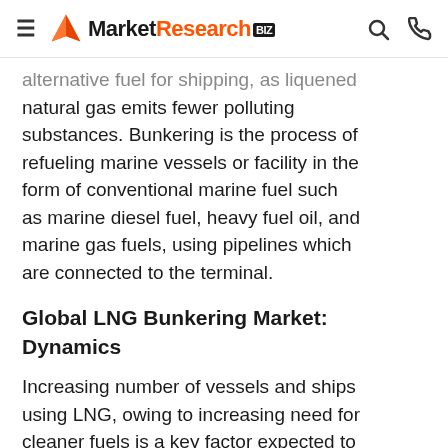≡ MarketResearch.biz [search icon] [phone icon]
alternative fuel for shipping, as liquened natural gas emits fewer polluting substances. Bunkering is the process of refueling marine vessels or facility in the form of conventional marine fuel such as marine diesel fuel, heavy fuel oil, and marine gas fuels, using pipelines which are connected to the terminal.
Global LNG Bunkering Market: Dynamics
Increasing number of vessels and ships using LNG, owing to increasing need for cleaner fuels is a key factor expected to drive growth of the global market over